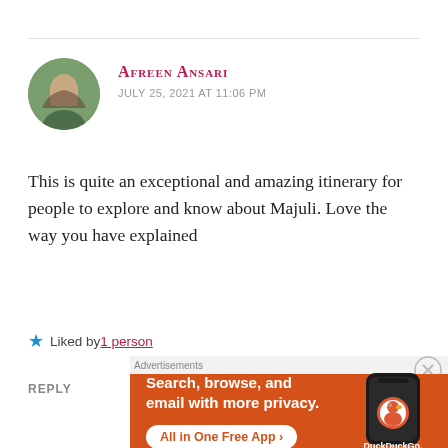AFREEN ANSARI
JULY 25, 2021 AT 11:06 PM
This is quite an exceptional and amazing itinerary for people to explore and know about Majuli. Love the way you have explained
★ Liked by 1 person
REPLY
[Figure (screenshot): DuckDuckGo advertisement banner: orange background with text 'Search, browse, and email with more privacy. All in One Free App' and a phone showing the DuckDuckGo app]